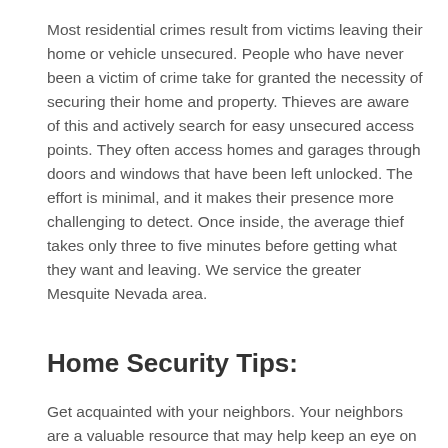Most residential crimes result from victims leaving their home or vehicle unsecured. People who have never been a victim of crime take for granted the necessity of securing their home and property. Thieves are aware of this and actively search for easy unsecured access points. They often access homes and garages through doors and windows that have been left unlocked. The effort is minimal, and it makes their presence more challenging to detect. Once inside, the average thief takes only three to five minutes before getting what they want and leaving. We service the greater Mesquite Nevada area.
Home Security Tips:
Get acquainted with your neighbors. Your neighbors are a valuable resource that may help keep an eye on